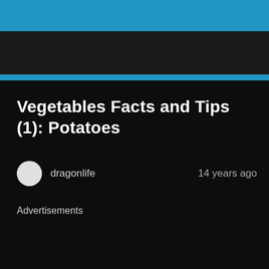Vegetables Facts and Tips (1): Potatoes
dragonlife   14 years ago
Advertisements